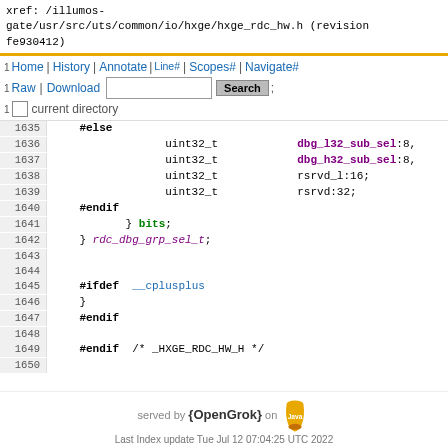xref: /illumos-gate/usr/src/uts/common/io/hxge/hxge_rdc_hw.h (revision fe930412)
Home | History | Annotate | Line# | Scopes# | Navigate# | Raw | Download  [Search button] current directory
1632  uint32_t  dbg_h32_sub_sel:8;
1633  uint32_t  dbg_h32_sub_sel:8;
1634  uint32_t  dbg_132_sub_sel:8;
1635  #else
1636  uint32_t  dbg_l32_sub_sel:8;
1637  uint32_t  dbg_h32_sub_sel:8;
1638  uint32_t  rsrvd_l:16;
1639  uint32_t  rsrvd:32;
1640  #endif
1641  } bits;
1642  } rdc_dbg_grp_sel_t;
1643
1644
1645  #ifdef  __cplusplus
1646  }
1647  #endif
1648
1649  #endif  /* _HXGE_RDC_HW_H */
1650
served by {OpenGrok} on Java
Last Index update Tue Jul 12 07:04:25 UTC 2022